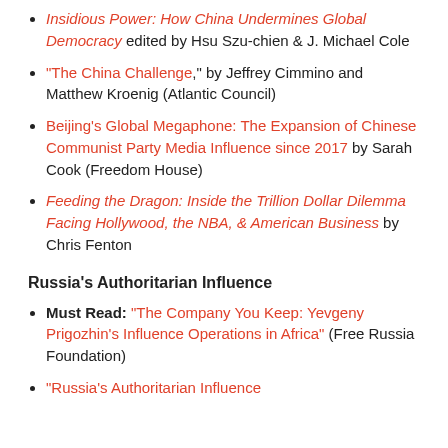Insidious Power: How China Undermines Global Democracy edited by Hsu Szu-chien & J. Michael Cole
“The China Challenge,” by Jeffrey Cimmino and Matthew Kroenig (Atlantic Council)
Beijing’s Global Megaphone: The Expansion of Chinese Communist Party Media Influence since 2017 by Sarah Cook (Freedom House)
Feeding the Dragon: Inside the Trillion Dollar Dilemma Facing Hollywood, the NBA, & American Business by Chris Fenton
Russia’s Authoritarian Influence
Must Read: “The Company You Keep: Yevgeny Prigozhin’s Influence Operations in Africa” (Free Russia Foundation)
“Russia’s Authoritarian Influence...”